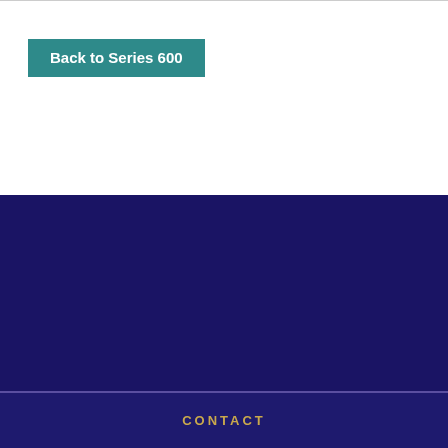Back to Series 600
[Figure (logo): Cedar Rapids Community School District logo with colorful star and text, tagline: Every Learner. Future Ready.]
CONTACT